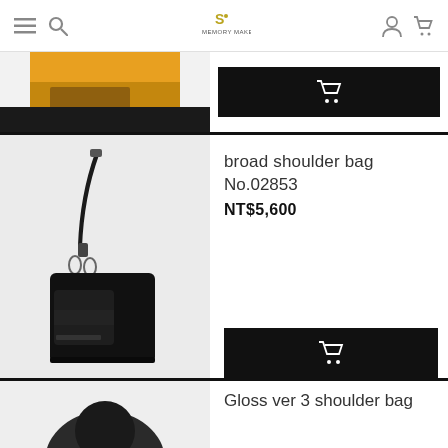Navigation bar with menu, search, logo, user account, and cart icons
[Figure (photo): Partially cropped product image showing yellow/orange bag from above]
[Figure (other): Black add-to-cart button with shopping cart icon]
[Figure (photo): Black broad shoulder bag with long strap against grey background]
broad shoulder bag
No.02853
NT$5,600
[Figure (other): Black add-to-cart button with shopping cart icon]
[Figure (photo): Partially visible product image at bottom of page]
Gloss ver 3 shoulder bag